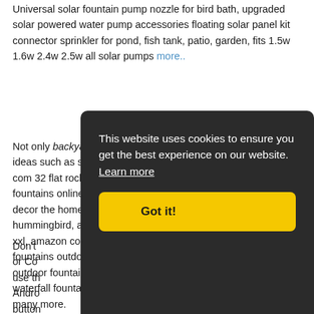Universal solar fountain pump nozzle for bird bath, upgraded solar powered water pump accessories floating solar panel kit connector sprinkler for pond, fish tank, patio, garden, fits 1.5w 1.6w 2.4w 2.5w all solar pumps more..
Not only backyard fountains amazon, You can also find other ideas such as schematics, plans, pictures like about amazon com 32 flat rock waterfall fountain indoor, fountains buy fountains online at best prices in amazon, fountains outdoor decor the home depot, amazon com nature s garden verdigris hummingbird, amazon com jersey home decor 48 tallx 40" wide xxl, amazon co uk garden fountains, garden fountains wall fountains outdoor water features, tuscan garden pedestal outdoor fountain by universal, amazon com alpine win316 rock waterfall fountain with, amazon ca solar water fountain and many more.
Don't ... or Co... use th... Andro... button...
This website uses cookies to ensure you get the best experience on our website. Learn more
Got it!